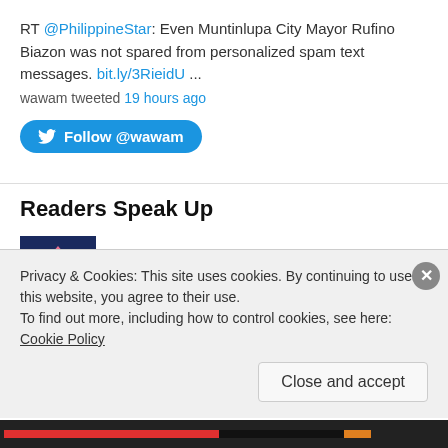RT @PhilippineStar: Even Muntinlupa City Mayor Rufino Biazon was not spared from personalized spam text messages. bit.ly/3RieidU ... wawam tweeted 19 hours ago
[Figure (other): Follow @wawam button (Twitter/X follow button, blue rounded rectangle with bird icon)]
Readers Speak Up
[Figure (illustration): Ahahaha user avatar - dark blue background with pink diamond face character with angry eyes]
Ahahaha on A SOCIAL CONTRACT WITH THE FIL…
[Figure (illustration): maurice inocencio user avatar - light blue face character with mask/bandana]
maurice inocencio on why Mar Roxas' "Da…
Privacy & Cookies: This site uses cookies. By continuing to use this website, you agree to their use.
To find out more, including how to control cookies, see here: Cookie Policy